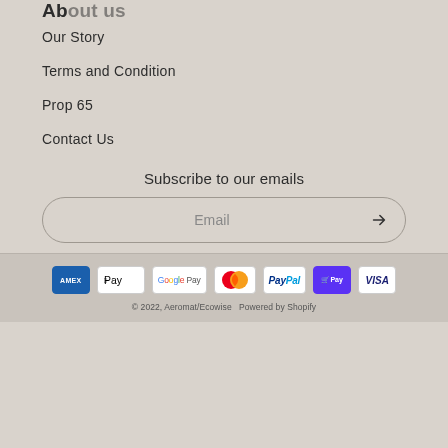Our Story
Terms and Condition
Prop 65
Contact Us
Subscribe to our emails
Email
© 2022, Aeromat/Ecowise  Powered by Shopify